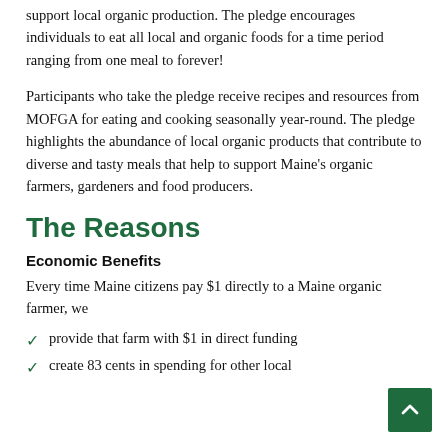support local organic production. The pledge encourages individuals to eat all local and organic foods for a time period ranging from one meal to forever!
Participants who take the pledge receive recipes and resources from MOFGA for eating and cooking seasonally year-round. The pledge highlights the abundance of local organic products that contribute to diverse and tasty meals that help to support Maine's organic farmers, gardeners and food producers.
The Reasons
Economic Benefits
Every time Maine citizens pay $1 directly to a Maine organic farmer, we
provide that farm with $1 in direct funding
create 83 cents in spending for other local